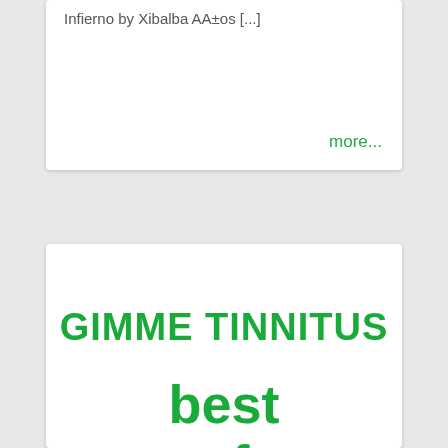Infierno by Xibalba AA±os [...]
more...
GIMME TINNITUS
best of 2017